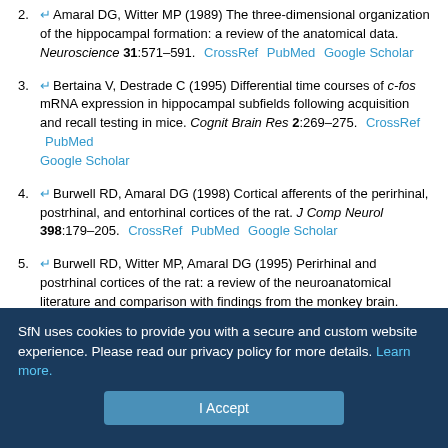2. Amaral DG, Witter MP (1989) The three-dimensional organization of the hippocampal formation: a review of the anatomical data. Neuroscience 31:571–591. CrossRef PubMed Google Scholar
3. Bertaina V, Destrade C (1995) Differential time courses of c-fos mRNA expression in hippocampal subfields following acquisition and recall testing in mice. Cognit Brain Res 2:269–275. CrossRef PubMed Google Scholar
4. Burwell RD, Amaral DG (1998) Cortical afferents of the perirhinal, postrhinal, and entorhinal cortices of the rat. J Comp Neurol 398:179–205. CrossRef PubMed Google Scholar
5. Burwell RD, Witter MP, Amaral DG (1995) Perirhinal and postrhinal cortices of the rat: a review of the neuroanatomical literature and comparison with findings from the monkey brain. Hippocampus 5:390–408. CrossRef PubMed Google Scholar
SfN uses cookies to provide you with a secure and custom website experience. Please read our privacy policy for more details. Learn more.